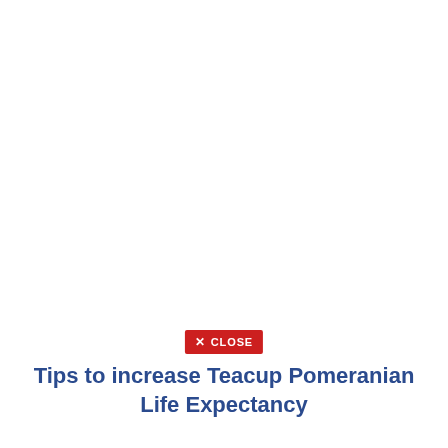[Figure (other): Red close button with X icon and 'CLOSE' text, positioned in the center of the page]
Tips to increase Teacup Pomeranian Life Expectancy